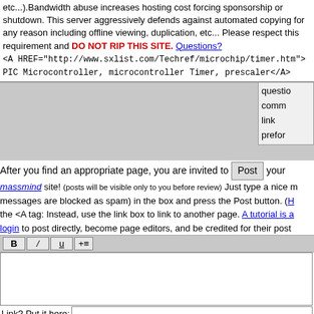etc...).Bandwidth abuse increases hosting cost forcing sponsorship or shutdown. This server aggressively defends against automated copying for any reason including offline viewing, duplication, etc... Please respect this requirement and DO NOT RIP THIS SITE. Questions?
<A HREF="http://www.sxlist.com/Techref/microchip/timer.htm"> PIC Microcontroller, microcontroller Timer, prescaler</A>
After you find an appropriate page, you are invited to Post your massmind site! (posts will be visible only to you before review) Just type a nice m messages are blocked as spam) in the box and press the Post button. (H the <A tag: Instead, use the link box to link to another page. A tutorial is a login to post directly, become page editors, and be credited for their post
Link? Put it here:
if you want a response, please enter your email address:
Attn spammers: All posts are reviewed before being made visible to anyone other than
Did you find what you needed?
"Not quite. Look for more pages like this one."